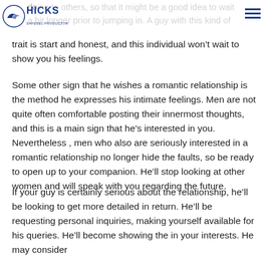doing to others, so that it might be a good idea to wait a bit longer prior to jumping in. A guy with this kind of trait is start and honest, and this individual won't wait to show you his feelings.
Some other sign that he wishes a romantic relationship is the method he expresses his intimate feelings. Men are not quite often comfortable posting their innermost thoughts, and this is a main sign that he’s interested in you. Nevertheless , men who also are seriously interested in a romantic relationship no longer hide the faults, so be ready to open up to your companion. He’ll stop looking at other women and will speak with you regarding the future.
If your guy is certainly serious about the relationship, he’ll be looking to get more detailed in return. He’ll be requesting personal inquiries, making yourself available for his queries. He’ll become showing the in your interests. He may consider the possibility to connect to. When a man will cause to really like you,